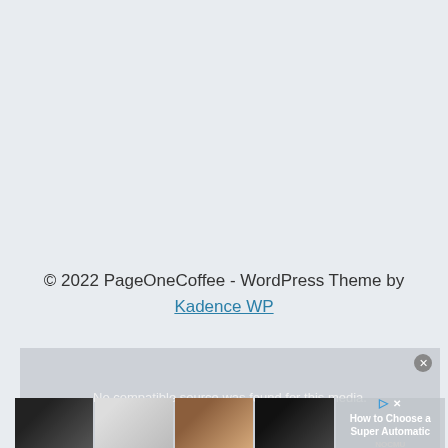© 2022 PageOneCoffee - WordPress Theme by Kadence WP
[Figure (screenshot): Video player overlay showing 'No compatible source was found for this media.' message with thumbnail strip below including bag product images and a partially visible video overlay with play button and ad label.]